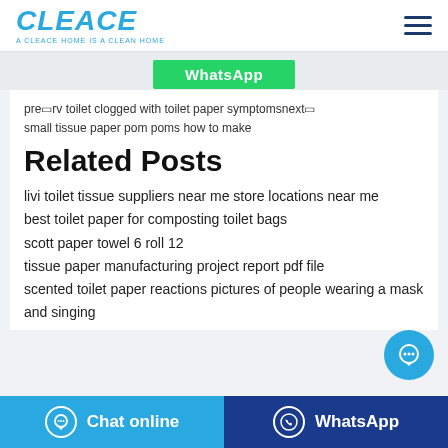CLEACE — A CLEACE HOME IS A CLEAN HOME
[Figure (screenshot): Partially visible green WhatsApp button at top of content area]
pre□rv toilet clogged with toilet paper symptomsnext□
small tissue paper pom poms how to make
Related Posts
livi toilet tissue suppliers near me store locations near me
best toilet paper for composting toilet bags
scott paper towel 6 roll 12
tissue paper manufacturing project report pdf file
scented toilet paper reactions pictures of people wearing a mask and singing
Chat online   WhatsApp